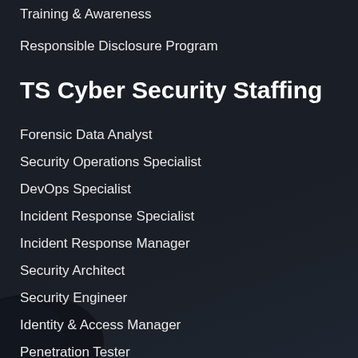Training & Awareness
Responsible Disclosure Program
TS Cyber Security Staffing
Forensic Data Analyst
Security Operations Specialist
DevOps Specialist
Incident Response Specialist
Incident Response Manager
Security Architect
Security Engineer
Identity & Access Manager
Penetration Tester